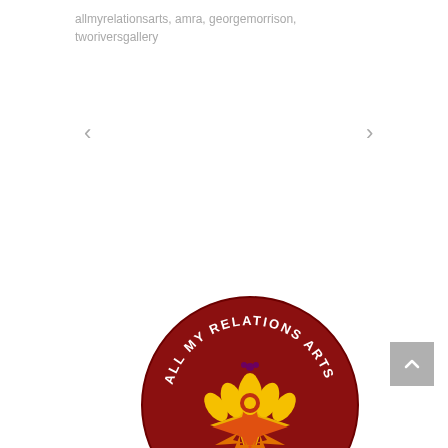allmyrelationsarts, amra, georgemorrison, tworiversgallery
[Figure (logo): All My Relations Arts circular logo with dark red background, yellow and orange flower/star design in center, text 'ALL MY RELATIONS ARTS' arched around the top and bottom]